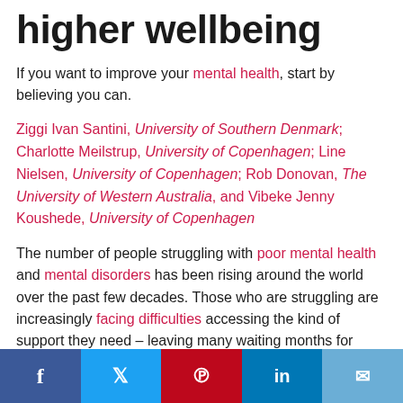higher wellbeing
If you want to improve your mental health, start by believing you can.
Ziggi Ivan Santini, University of Southern Denmark; Charlotte Meilstrup, University of Copenhagen; Line Nielsen, University of Copenhagen; Rob Donovan, The University of Western Australia, and Vibeke Jenny Koushede, University of Copenhagen
The number of people struggling with poor mental health and mental disorders has been rising around the world over the past few decades. Those who are struggling are increasingly facing difficulties accessing the kind of support they need – leaving many waiting months for help, if they even qualify for treatment.